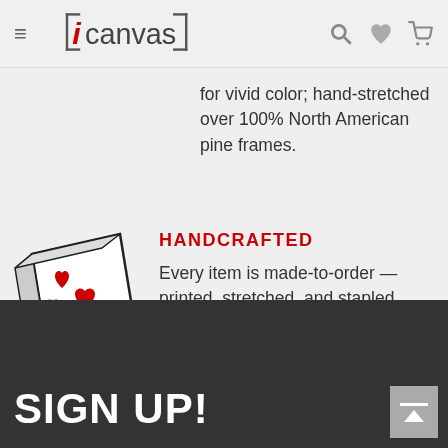icanvas navigation header with hamburger menu, logo, search, heart, and cart icons
for vivid color; hand-stretched over 100% North American pine frames.
[Figure (illustration): Line-art illustration of a canvas print in perspective showing red heart shapes on a white framed canvas]
HANDCRAFTED
Every item is made-to-order — printed, stretched, and stapled here, at iCanvas.
LEARN MORE
SIGN UP!